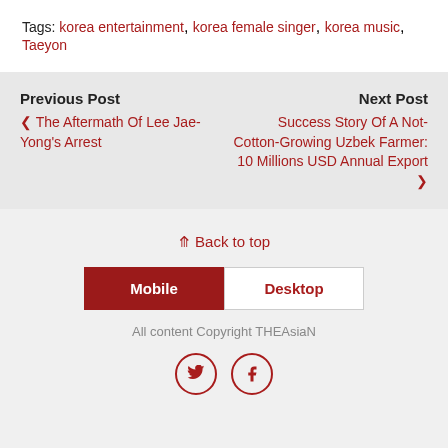Tags: korea entertainment, korea female singer, korea music, Taeyon
Previous Post
‹ The Aftermath Of Lee Jae-Yong's Arrest
Next Post
Success Story Of A Not-Cotton-Growing Uzbek Farmer: 10 Millions USD Annual Export ›
⇑ Back to top
Mobile | Desktop
All content Copyright THEAsiaN